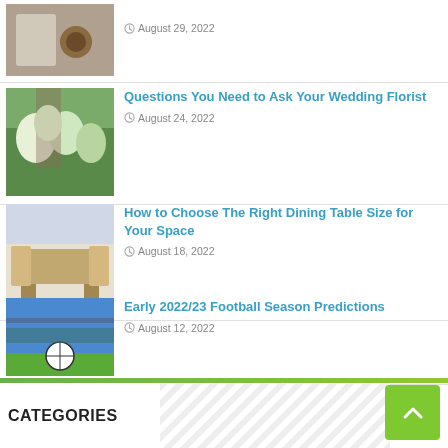[Figure (photo): Partial view of hands with brown coin/stamp on paper — August 29 2022 article thumbnail]
August 29, 2022
[Figure (photo): Woman in a flower shop with white and green floral arrangements]
Questions You Need to Ask Your Wedding Florist
August 24, 2022
[Figure (photo): Bright dining room with wooden table and chairs]
How to Choose The Right Dining Table Size for Your Space
August 18, 2022
[Figure (photo): Football stadium with soccer ball on green grass]
Early 2022/23 Football Season Predictions
August 12, 2022
[Figure (photo): Wooden gavel with toy cars — legal/car accident theme]
How To Build A Strong Car Accident Case?
August 9, 2022
CATEGORIES